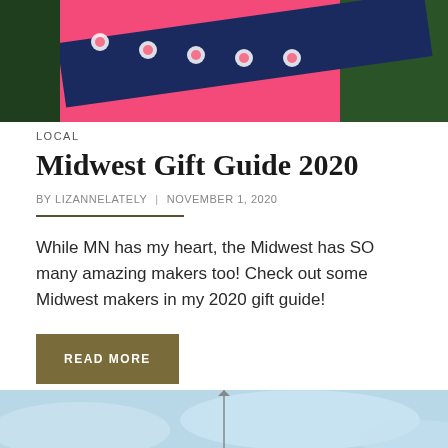[Figure (photo): Top portion of a blog article header image showing a pink gift/bag with a decorative navy blue and white peppermint candy ribbon/strap, with green foliage in the background]
LOCAL
Midwest Gift Guide 2020
BY LIZANNELATELY  |  NOVEMBER 1, 2020
While MN has my heart, the Midwest has SO many amazing makers too! Check out some Midwest makers in my 2020 gift guide!
READ MORE
[Figure (photo): Bottom of page shows the top portion of another article's header image — a light blue sky with what appears to be an arrow or thin vertical object pointing upward]